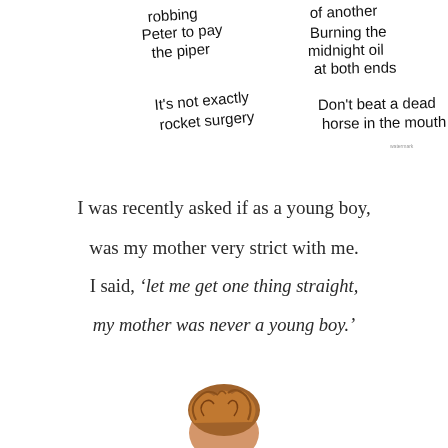[Figure (illustration): Handwritten mixed-up idioms arranged in a scattered layout: 'robbing Peter to pay the piper', 'of another', 'Burning the midnight oil at both ends', 'It's not exactly rocket surgery', 'Don't beat a dead horse in the mouth']
I was recently asked if as a young boy, was my mother very strict with me. I said, 'let me get one thing straight, my mother was never a young boy.'
[Figure (illustration): Partial illustration of a curly-haired head (top of head visible at bottom of page)]